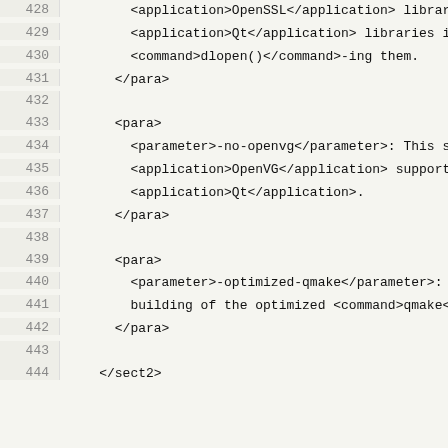428   <application>OpenSSL</application> libraries into
429       <application>Qt</application> libraries instead of
430       <command>dlopen()</command>-ing them.
431     </para>
432
433     <para>
434       <parameter>-no-openvg</parameter>: This switch disables
435       <application>OpenVG</application> support in
436       <application>Qt</application>.
437     </para>
438
439     <para>
440       <parameter>-optimized-qmake</parameter>: This switch enables
441       building of the optimized <command>qmake</command> program.
442     </para>
443
444   </sect2>